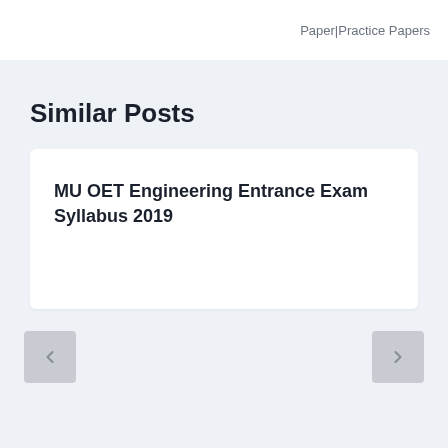Paper|Practice Papers
Similar Posts
MU OET Engineering Entrance Exam Syllabus 2019